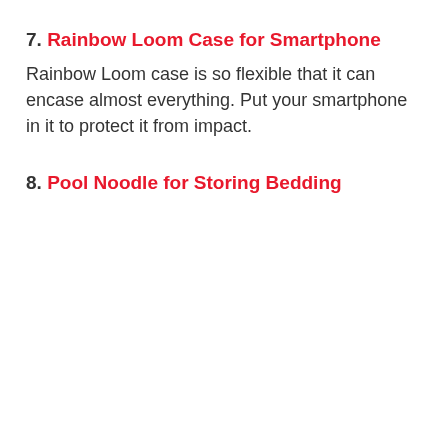7. Rainbow Loom Case for Smartphone
Rainbow Loom case is so flexible that it can encase almost everything. Put your smartphone in it to protect it from impact.
8. Pool Noodle for Storing Bedding